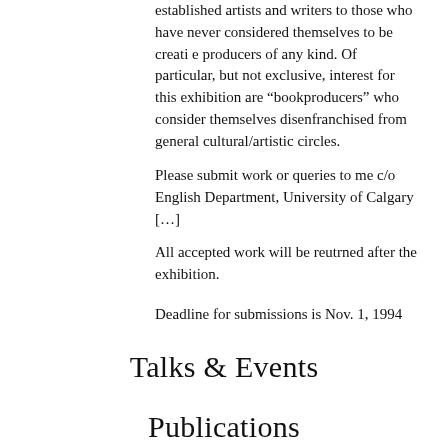established artists and writers to those who have never considered themselves to be creative producers of any kind. Of particular, but not exclusive, interest for this exhibition are “bookproducers” who consider themselves disenfranchised from general cultural/artistic circles.
Please submit work or queries to me c/o English Department, University of Calgary […]
All accepted work will be reutrned after the exhibition.
Deadline for submissions is Nov. 1, 1994
Talks & Events
Publications